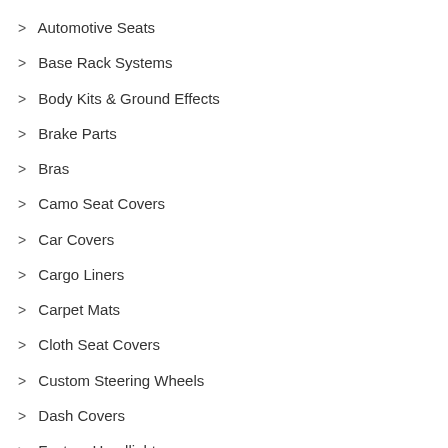> Automotive Seats
> Base Rack Systems
> Body Kits & Ground Effects
> Brake Parts
> Bras
> Camo Seat Covers
> Car Covers
> Cargo Liners
> Carpet Mats
> Cloth Seat Covers
> Custom Steering Wheels
> Dash Covers
> Factory Headlights